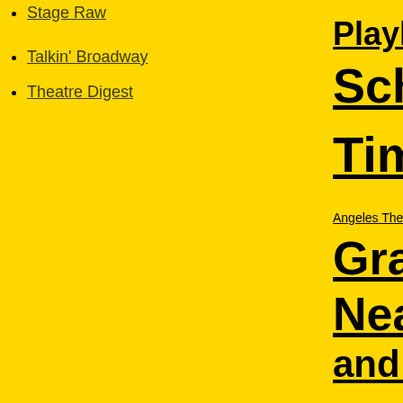Stage Raw
Talkin' Broadway
Theatre Digest
Playhouse Haines Schwartz Katie Br... Times LA W... Angeles Theatre Center L... Gray Melinda Schu... Neal Weaver and Screen Pantage... Paul Birchall Pau... Stevens Sharon Per... Raw Steven L... Morgan Theate... Breeze The Holly...